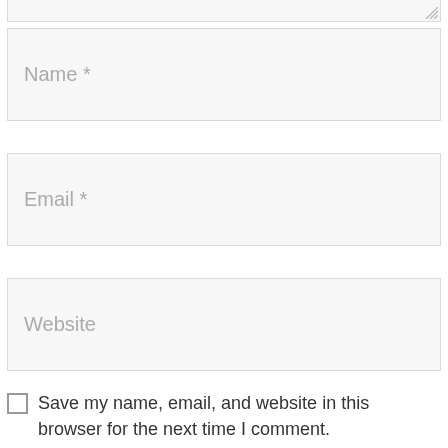[Figure (screenshot): Bottom edge of a textarea input field with resize handle in lower right corner]
Name *
Email *
Website
Save my name, email, and website in this browser for the next time I comment.
Post Comment
Search